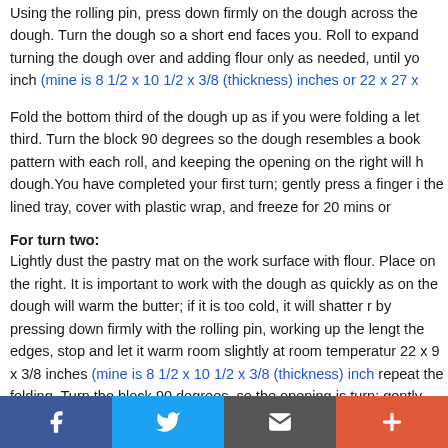Using the rolling pin, press down firmly on the dough across the dough. Turn the dough so a short end faces you. Roll to expand turning the dough over and adding flour only as needed, until you inch (mine is 8 1/2 x 10 1/2 x 3/8 (thickness) inches or 22 x 27 x
Fold the bottom third of the dough up as if you were folding a letter, then fold down the top third. Turn the block 90 degrees so the dough resembles a book. Maintaining this pattern with each roll, and keeping the opening on the right will help you layer the dough. You have completed your first turn; gently press a finger into a corner to mark the dough. Place on the lined tray, cover with plastic wrap, and freeze for 20 mins or
For turn two:
Lightly dust the pastry mat on the work surface with flour. Place on the right. It is important to work with the dough as quickly as on the dough will warm the butter; if it is too cold, it will shatter rather than roll. Start by pressing down firmly with the rolling pin, working up the length of the dough. Work from the edges, stop and let it warm room slightly at room temperature 22 x 9 x 3/8 inches (mine is 8 1/2 x 10 1/2 x 3/8 (thickness) inches repeat the folding. Turn the block 90 degrees, so the opening is turn: gently press 2 fingers into a corner to mark the dough. Return to plastic wrap, and freeze for 20 mins, or until the dough has stiffe
[Figure (infographic): Social sharing bar with four buttons: Facebook (blue), Twitter (light blue), Email/message (dark gray), and Add/plus (orange-red)]